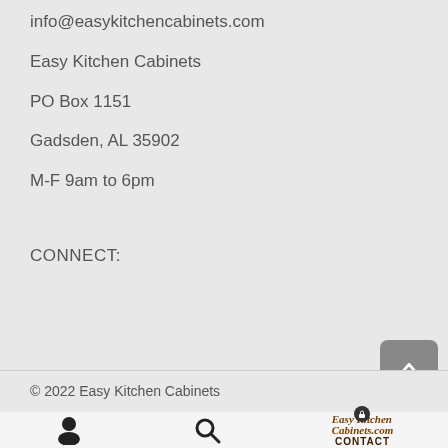info@easykitchencabinets.com
Easy Kitchen Cabinets
PO Box 1151
Gadsden, AL 35902
M-F 9am to 6pm
CONNECT:
© 2022 Easy Kitchen Cabinets
[Figure (screenshot): Bottom navigation bar with user icon, search icon, and Easy Kitchen Cabinets logo with CONTACT label]
[Figure (other): Scroll-to-top button with upward arrow icon]